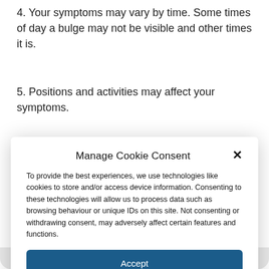4. Your symptoms may vary by time. Some times of day a bulge may not be visible and other times it is.
5. Positions and activities may affect your symptoms.
Manage Cookie Consent
To provide the best experiences, we use technologies like cookies to store and/or access device information. Consenting to these technologies will allow us to process data such as browsing behaviour or unique IDs on this site. Not consenting or withdrawing consent, may adversely affect certain features and functions.
Accept
Deny
View preferences